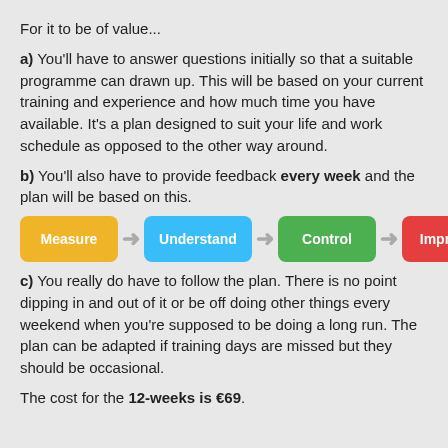For it to be of value...
a) You'll have to answer questions initially so that a suitable programme can drawn up. This will be based on your current training and experience and how much time you have available. It's a plan designed to suit your life and work schedule as opposed to the other way around.
b) You'll also have to provide feedback every week and the plan will be based on this.
[Figure (infographic): Four steps flow diagram: Measure (yellow) → Understand (blue) → Control (green) → Improve (red)]
c) You really do have to follow the plan. There is no point dipping in and out of it or be off doing other things every weekend when you're supposed to be doing a long run. The plan can be adapted if training days are missed but they should be occasional.
The cost for the 12-weeks is €69.